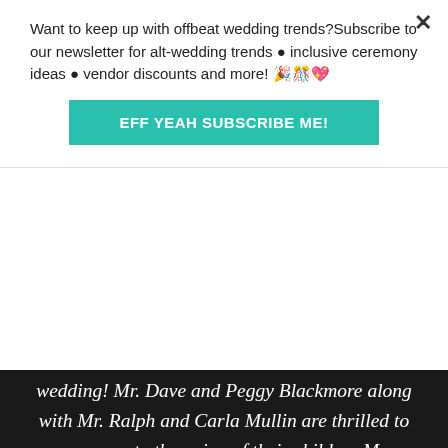Want to keep up with offbeat wedding trends?Subscribe to our newsletter for alt-wedding trends • inclusive ceremony ideas • vendor discounts and more! 🎉🎊💖
EFF YEAH SUBSCRIBE ME!
wedding! Mr. Dave and Peggy Blackmore along with Mr. Ralph and Carla Mullin are thrilled to summon you to the union of their children Megan Geneva and Marshall James when the clock strikes the bewitching time of 4:30 p.m. on Saturday, October 19th 2013.
Wear something spooktacular. False identities